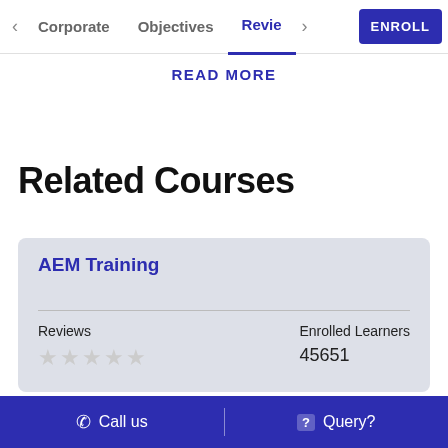< Corporate   Objectives   Revie >   ENROLL
READ MORE
Related Courses
AEM Training
Reviews
★★★★★
Enrolled Learners
45651
Call us   |   Query?